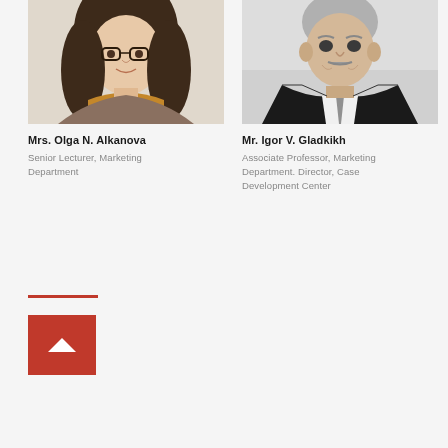[Figure (photo): Portrait photo of Mrs. Olga N. Alkanova, a woman with long dark hair and glasses]
[Figure (photo): Portrait photo of Mr. Igor V. Gladkikh, an older man in a dark suit with a tie]
Mrs. Olga N. Alkanova
Senior Lecturer, Marketing Department
Mr. Igor V. Gladkikh
Associate Professor, Marketing Department. Director, Case Development Center
[Figure (other): Red horizontal decorative line divider]
[Figure (other): Red back-to-top button with upward chevron arrow icon]